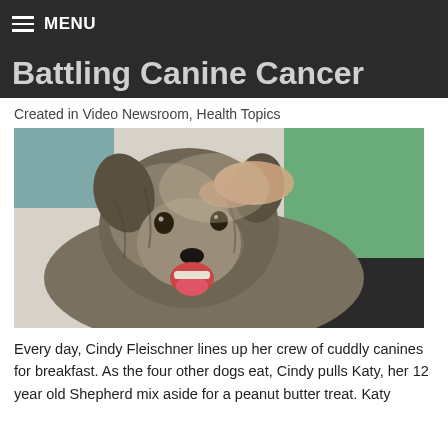MENU
Battling Canine Cancer
Created in Video Newsroom, Health Topics
[Figure (photo): A fluffy gray and brown dog (Shepherd mix) with mouth open, being petted by a person in a green shirt in what appears to be a veterinary or indoor setting.]
Every day, Cindy Fleischner lines up her crew of cuddly canines for breakfast. As the four other dogs eat, Cindy pulls Katy, her 12 year old Shepherd mix aside for a peanut butter treat. Katy